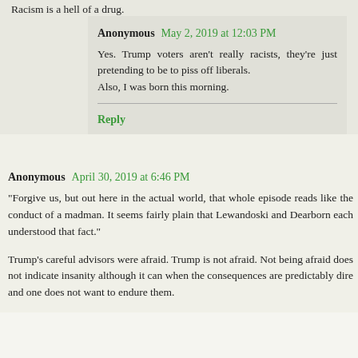Racism is a hell of a drug.
Anonymous  May 2, 2019 at 12:03 PM
Yes. Trump voters aren't really racists, they're just pretending to be to piss off liberals.
Also, I was born this morning.
Reply
Anonymous  April 30, 2019 at 6:46 PM
"Forgive us, but out here in the actual world, that whole episode reads like the conduct of a madman. It seems fairly plain that Lewandoski and Dearborn each understood that fact."
Trump's careful advisors were afraid. Trump is not afraid. Not being afraid does not indicate insanity although it can when the consequences are predictably dire and one does not want to endure them.